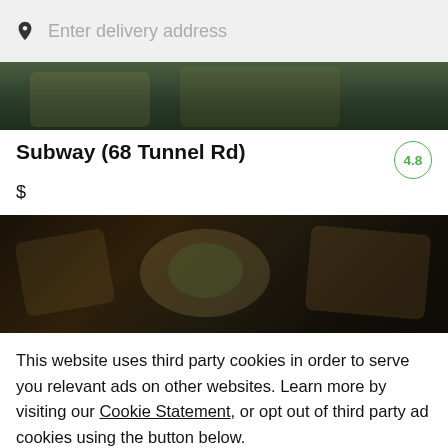Enter delivery address
[Figure (photo): Partially visible food image at top, dark green/food tones, cropped restaurant banner]
Subway (68 Tunnel Rd)
$
[Figure (photo): Dark food photography showing bowls and sandwiches on a dark wooden table]
This website uses third party cookies in order to serve you relevant ads on other websites. Learn more by visiting our Cookie Statement, or opt out of third party ad cookies using the button below.
Opt out
Got it